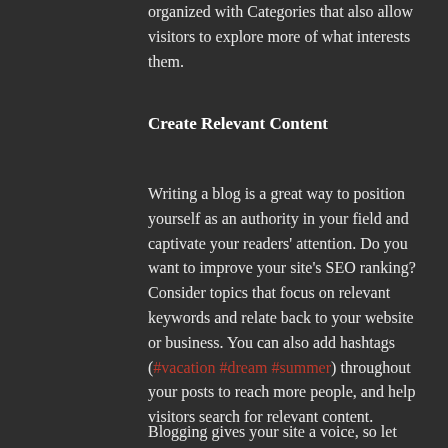organized with Categories that also allow visitors to explore more of what interests them.
Create Relevant Content
Writing a blog is a great way to position yourself as an authority in your field and captivate your readers' attention. Do you want to improve your site's SEO ranking? Consider topics that focus on relevant keywords and relate back to your website or business. You can also add hashtags (#vacation #dream #summer) throughout your posts to reach more people, and help visitors search for relevant content.
Blogging gives your site a voice, so let